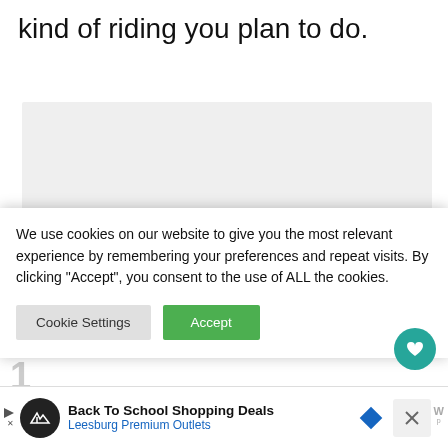kind of riding you plan to do.
[Figure (other): Gray placeholder content box]
We use cookies on our website to give you the most relevant experience by remembering your preferences and repeat visits. By clicking “Accept”, you consent to the use of ALL the cookies.
[Figure (other): Cookie Settings and Accept buttons with heart icon]
[Figure (other): Second gray placeholder content box]
[Figure (other): Share button icon]
[Figure (other): WHAT'S NEXT panel with thumbnail - How to Choose The...]
[Figure (other): Advertisement bar: Back To School Shopping Deals - Leesburg Premium Outlets]